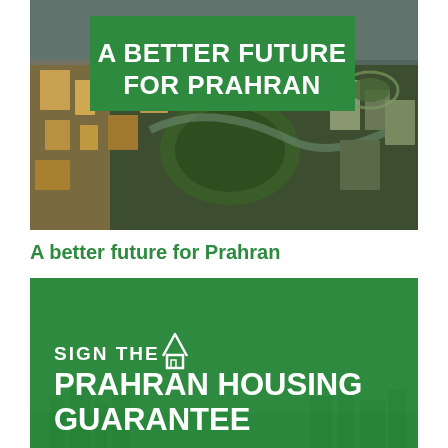[Figure (photo): Aerial view of Prahran/Melbourne urban area at dusk or dawn, showing densely packed buildings, parks, and streets from above. A dark green overlay banner reads 'A BETTER FUTURE FOR PRAHRAN' in white bold uppercase text on a green background.]
A better future for Prahran
[Figure (infographic): Green background card with white text reading 'SIGN THE [house icon] PRAHRAN HOUSING GUARANTEE' in bold uppercase. A faint city skyline silhouette is visible at the bottom of the card.]